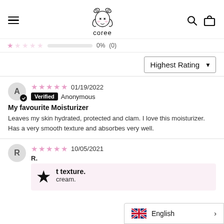coree — navigation header with hamburger menu, logo, search and cart icons
★☆☆☆☆  0%  (0)
Highest Rating ▼
★★★★★  01/19/2022  Verified  Anonymous
My favourite Moisturizer
Leaves my skin hydrated, protected and clam. I love this moisturizer. Has a very smooth texture and absorbes very well.
★★★★★  10/05/2021  R.
t texture.
cream.
English >